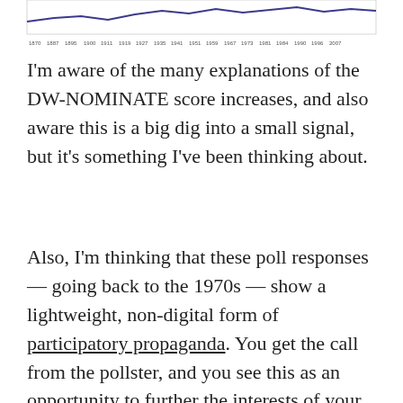[Figure (continuous-plot): Partial view of a line chart showing DW-NOMINATE score data over time from approximately 1870 to 2007, with x-axis year labels visible at the bottom and a blue/navy line visible at the top of the crop.]
I'm aware of the many explanations of the DW-NOMINATE score increases, and also aware this is a big dig into a small signal, but it's something I've been thinking about.
Also, I'm thinking that these poll responses — going back to the 1970s — show a lightweight, non-digital form of participatory propaganda. You get the call from the pollster, and you see this as an opportunity to further the interests of your party by ever-so-slightly affecting the poll results.